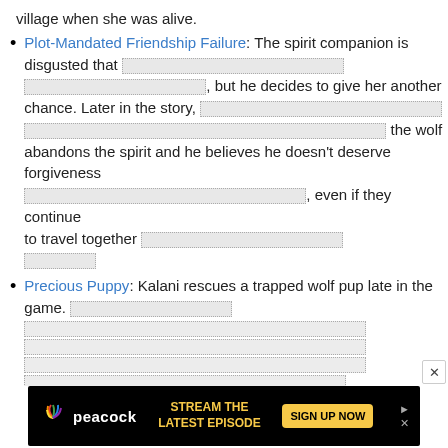village when she was alive.
Plot-Mandated Friendship Failure: The spirit companion is disgusted that [redacted], but he decides to give her another chance. Later in the story, [redacted] the wolf abandons the spirit and he believes he doesn't deserve forgiveness [redacted], even if they continue to travel together [redacted]
Precious Puppy: Kalani rescues a trapped wolf pup late in the game. [redacted lines]
[Figure (other): Peacock streaming service advertisement banner: 'STREAM THE LATEST EPISODE' with SIGN UP NOW button]